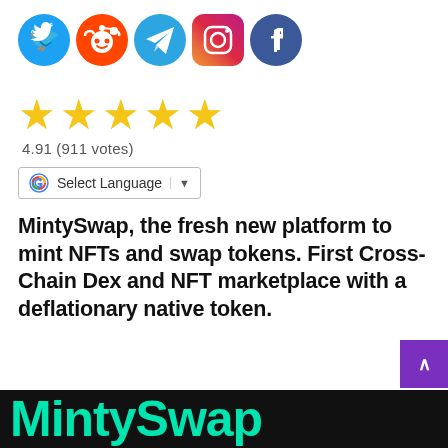[Figure (illustration): Row of five social media icon circles: Twitter (blue), Reddit (orange), Telegram (blue), Instagram (gradient purple-orange), Facebook (dark blue)]
[Figure (other): Five gold star rating icons]
4.91 (911 votes)
[Figure (other): Google Translate Select Language dropdown widget]
MintySwap, the fresh new platform to mint NFTs and swap tokens. First Cross-Chain Dex and NFT marketplace with a deflationary native token.
[Figure (logo): MintySwap logo text in teal/cyan on black background at bottom of page]